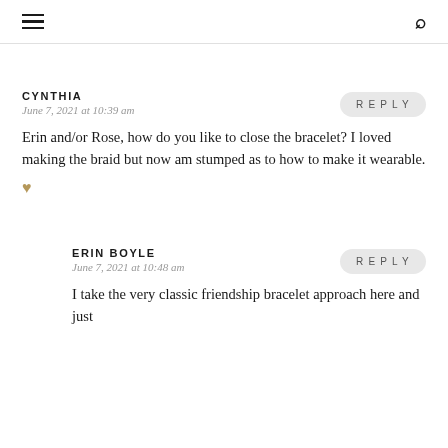≡  🔍
CYNTHIA
June 7, 2021 at 10:39 am
Erin and/or Rose, how do you like to close the bracelet? I loved making the braid but now am stumped as to how to make it wearable.
♥
ERIN BOYLE
June 7, 2021 at 10:48 am
I take the very classic friendship bracelet approach here and just